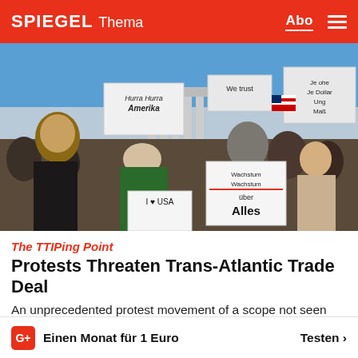SPIEGEL Thema
[Figure (photo): Protest scene in Berlin near Brandenburg Gate. Demonstrators wearing masks of Barack Obama and Angela Merkel hold signs reading 'Hurra Hurra Amerika', 'We trust', 'Je ohe Je Dollar', 'Ung Maß', 'I love USA', 'Wachstum Wachstum über Alles'. American flags visible in the background.]
The TTIPing Point
Protests Threaten Trans-Atlantic Trade Deal
An unprecedented protest movement of a scope not seen since the Iraq war in Germa… has pushed negotiations
G+ Einen Monat für 1 Euro   Testen >